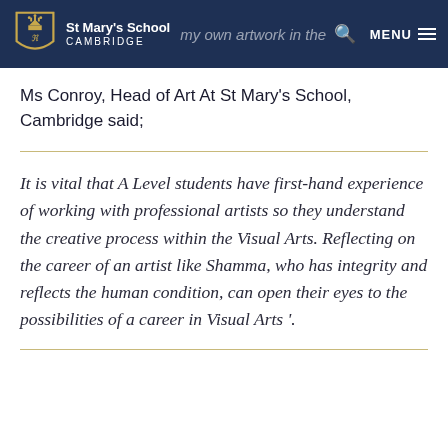St Mary's School CAMBRIDGE | my own artwork in the future… | MENU
Ms Conroy, Head of Art At St Mary's School, Cambridge said;
It is vital that A Level students have first-hand experience of working with professional artists so they understand the creative process within the Visual Arts. Reflecting on the career of an artist like Shamma, who has integrity and reflects the human condition, can open their eyes to the possibilities of a career in Visual Arts '.